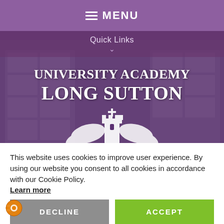MENU
Quick Links
[Figure (screenshot): Hero banner showing a school building exterior with purple overlay, featuring the University Academy Long Sutton crest and logo text]
UNIVERSITY ACADEMY LONG SUTTON
This website uses cookies to improve user experience. By using our website you consent to all cookies in accordance with our Cookie Policy. Learn more
DECLINE
ACCEPT